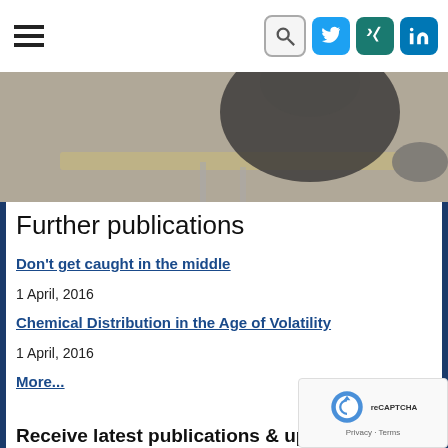Navigation bar with hamburger menu and social icons (Twitter, Xing, LinkedIn)
[Figure (photo): Photo of a person sitting at a desk, seen from the shoulder area, with chairs and a table in the background]
Further publications
Don't get caught in the middle
1 April, 2016
Chemical Distribution in the Age of Volatility
1 April, 2016
More...
Receive latest publications & update
Email *
By subscribing you agree to receive our promotional marketing ma... and agree with our Privacy Policy. You may unsubscribe at any time.